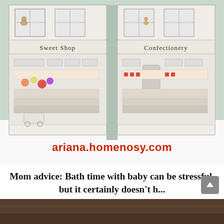[Figure (photo): Photo of two paper/cardboard shop buildings labeled 'Sweet Shop' and 'Confectionery' on a white surface with a sage green background. The shops are illustrated with candy displays, balloon decorations, and a cart. Watermark text 'ariana.homenosy.com' in red overlaid on the image.]
Mom advice: Bath time with baby can be stressful, but it certainly doesn't h...
1. Bertie Bear's Traditional Pewter Christening Tankard Mom advice: Bath time with baby can be stressful, but it certainly doesn't...
ADMIN • NOVEMBER 21, 2019 • LEAVE A COMMENT
[Figure (photo): Partial bottom image, dark brown/wood toned background, cropped.]